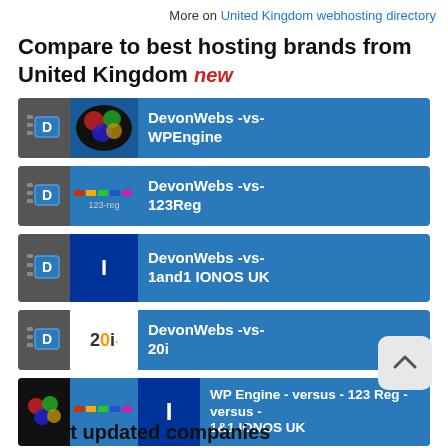More on United Kingdom webhosting directory
Compare to best hosting brands from United Kingdom new
DevonWebs -vs- WPEngine
DevonWebs -vs- 123Reg
DevonWebs -vs- 1and1 IONOS UK
DevonWebs -vs- 20i
WP Engine - versus - 123 Reg - versus - 1&1 IONOS UK
Latest updated companies